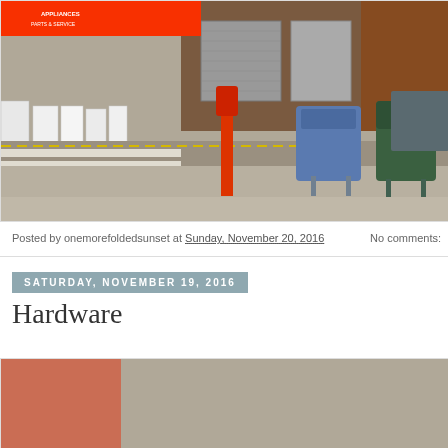[Figure (photo): Street scene showing a crosswalk, red parking meter post, blue and green mailboxes, appliance store with red awning in background displaying appliances on the sidewalk, and a car partially visible]
Posted by onemorefoldedsunset at Sunday, November 20, 2016   No comments:
SATURDAY, NOVEMBER 19, 2016
Hardware
[Figure (photo): Bottom portion of another blog post photo, partially visible]